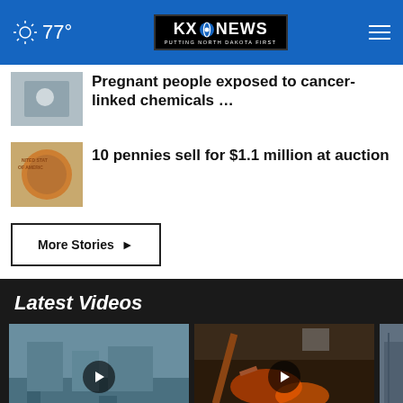77° KXO NEWS - PUTTING NORTH DAKOTA FIRST
Pregnant people exposed to cancer-linked chemicals …
10 pennies sell for $1.1 million at auction
More Stories ›
Latest Videos
[Figure (photo): Video thumbnail 1 - outdoor scene with buildings]
[Figure (photo): Video thumbnail 2 - fire/cooking scene]
[Figure (photo): Video thumbnail 3 - partial view]